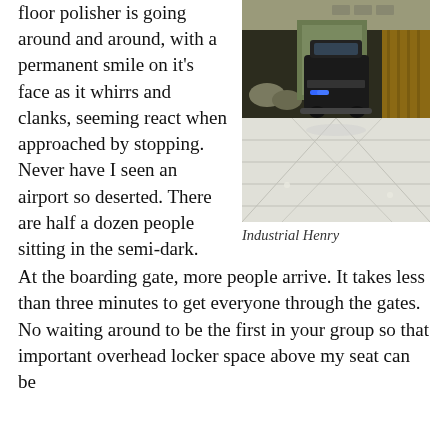floor polisher is going around and around, with a permanent smile on it’s face as it whirrs and clanks, seeming react when approached by stopping. Never have I seen an airport so deserted. There are half a dozen people sitting in the semi-dark.
[Figure (photo): A robotic floor polisher/scrubber machine in a large, dimly lit airport terminal. The machine is dark colored with blue lights, on a reflective white tiled floor. Airport seating and decor visible in background.]
Industrial Henry
At the boarding gate, more people arrive. It takes less than three minutes to get everyone through the gates. No waiting around to be the first in your group so that important overhead locker space above my seat can be